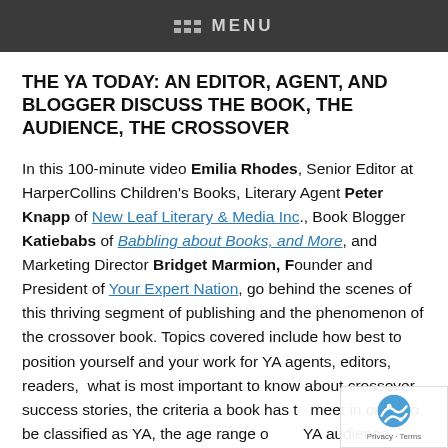MENU
THE YA TODAY: AN EDITOR, AGENT, AND BLOGGER DISCUSS THE BOOK, THE AUDIENCE, THE CROSSOVER
In this 100-minute video Emilia Rhodes, Senior Editor at HarperCollins Children's Books, Literary Agent Peter Knapp of New Leaf Literary & Media Inc., Book Blogger Katiebabs of Babbling about Books, and More, and Marketing Director Bridget Marmion, Founder and President of Your Expert Nation, go behind the scenes of this thriving segment of publishing and the phenomenon of the crossover book. Topics covered include how best to position yourself and your work for YA agents, editors, readers, what is most important to know about crossover success stories, the criteria a book has to meet in order to be classified as YA, the age range of the YA audience, what makes a good adult-YA crossover